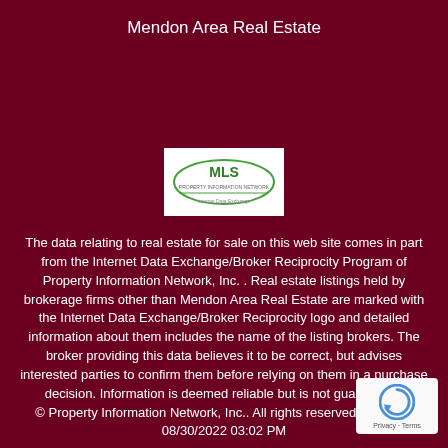Mendon Area Real Estate
[Figure (logo): MLS logo in white box — Internet Data Exchange/Broker Reciprocity logo for Property Information Network]
The data relating to real estate for sale on this web site comes in part from the Internet Data Exchange/Broker Reciprocity Program of Property Information Network, Inc. . Real estate listings held by brokerage firms other than Mendon Area Real Estate are marked with the Internet Data Exchange/Broker Reciprocity logo and detailed information about them includes the name of the listing brokers. The broker providing this data believes it to be correct, but advises interested parties to confirm them before relying on them in a purchase decision. Information is deemed reliable but is not guaranteed. © Property Information Network, Inc.. All rights reserved. Updated 08/30/2022 03:02 PM